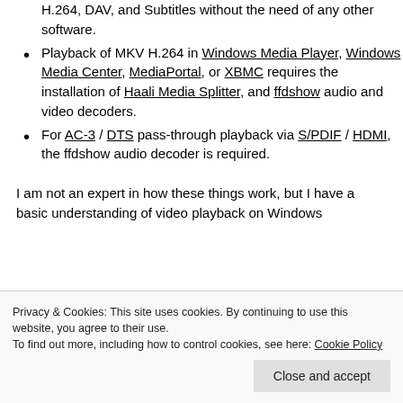H.264, DAV, and Subtitles without the need of any other software.
Playback of MKV H.264 in Windows Media Player, Windows Media Center, MediaPortal, or XBMC requires the installation of Haali Media Splitter, and ffdshow audio and video decoders.
For AC-3 / DTS pass-through playback via S/PDIF / HDMI, the ffdshow audio decoder is required.
I am not an expert in how these things work, but I have a basic understanding of video playback on Windows
Privacy & Cookies: This site uses cookies. By continuing to use this website, you agree to their use.
To find out more, including how to control cookies, see here: Cookie Policy